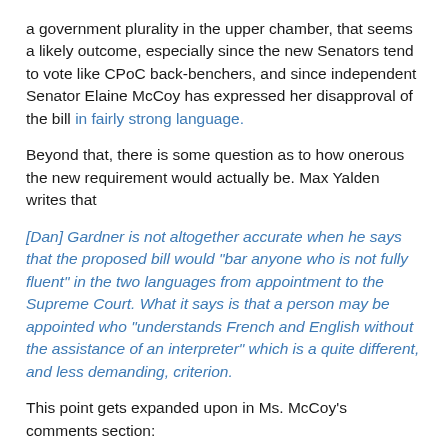a government plurality in the upper chamber, that seems a likely outcome, especially since the new Senators tend to vote like CPoC back-benchers, and since independent Senator Elaine McCoy has expressed her disapproval of the bill in fairly strong language.
Beyond that, there is some question as to how onerous the new requirement would actually be. Max Yalden writes that
[Dan] Gardner is not altogether accurate when he says that the proposed bill would "bar anyone who is not fully fluent" in the two languages from appointment to the Supreme Court. What it says is that a person may be appointed who "understands French and English without the assistance of an interpreter" which is a quite different, and less demanding, criterion.
This point gets expanded upon in Ms. McCoy's comments section:
Drastically less demanding. And I'm sure you know that simply understanding speech is quite different from the